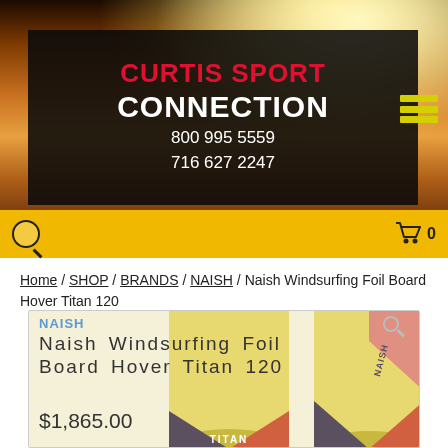[Figure (screenshot): Curtis Sport Connection website header with sunset background photo, black logo box showing red CURTIS SPORT and white CONNECTION text with phone numbers 800 995 5559 and 716 627 2247, yellow navigation bar with search icon and cart icon showing 0, and hamburger menu icon]
Home / SHOP / BRANDS / NAISH / Naish Windsurfing Foil Board Hover Titan 120
[Figure (photo): Two Naish Hover Titan 120 windsurfing foil boards side by side, yellow with dark geometric accents and NAISH branding, with NAISH brand label, product title Naish Windsurfing Foil Board Hover Titan 120, and price $1,865.00 overlaid]